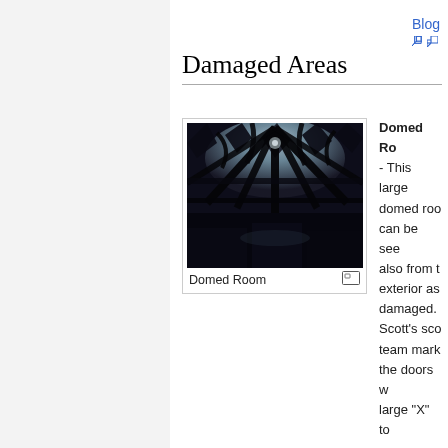Blog
Damaged Areas
[Figure (photo): Dark interior photograph of a domed room with cracked or damaged ceiling structure, showing light filtering through broken sections. Industrial or sci-fi environment.]
Domed Room
Domed Room - This large domed room can be seen also from the exterior as damaged. Scott's scout team marked the doors with a large "X" to indicate that they had visited the room and it was unsafe to enter. (Sta